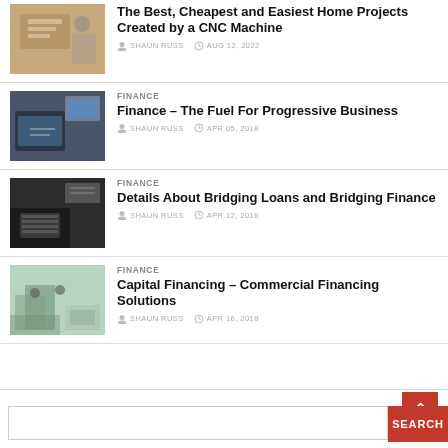The Best, Cheapest and Easiest Home Projects Created by a CNC Machine | SHAUN RUSS | AUG 12, 2022
FINANCE | Finance – The Fuel For Progressive Business | SHAUN RUSS | APR 05, 2018
FINANCE | Details About Bridging Loans and Bridging Finance | SHAUN RUSS | APR 12, 2018
FINANCE | Capital Financing – Commercial Financing Solutions | SHAUN RUSS | APR 16, 2018